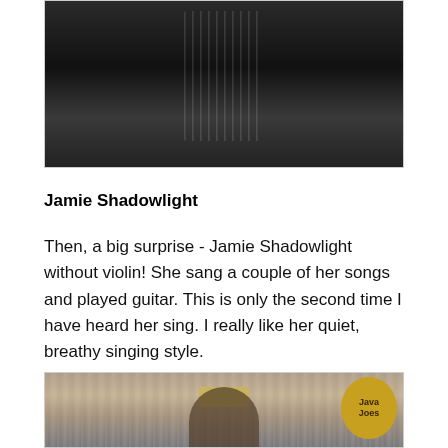[Figure (photo): Dark/dim photo of people, appears to be an indoor concert or gathering scene with a dark background and a figure in a patterned or white garment visible in the center]
Jamie Shadowlight
Then, a big surprise - Jamie Shadowlight without violin! She sang a couple of her songs and played guitar. This is only the second time I have heard her sing. I really like her quiet, breathy singing style.
[Figure (photo): Photo of a performer on stage at Java Joes, wearing a hat, with curtains in the background and the Java Joes logo (guitar sign) visible on the right]